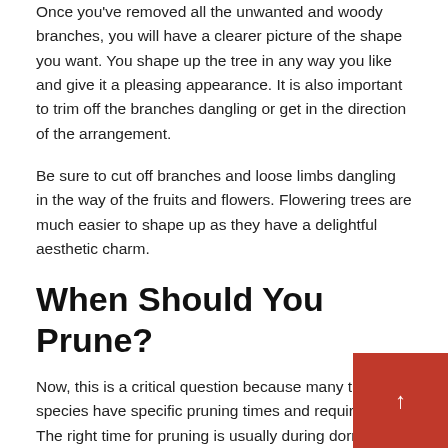Once you've removed all the unwanted and woody branches, you will have a clearer picture of the shape you want. You shape up the tree in any way you like and give it a pleasing appearance. It is also important to trim off the branches dangling or get in the direction of the arrangement.
Be sure to cut off branches and loose limbs dangling in the way of the fruits and flowers. Flowering trees are much easier to shape up as they have a delightful aesthetic charm.
When Should You Prune?
Now, this is a critical question because many tree species have specific pruning times and requirements. The right time for pruning is usually during dormancy, making winter the best time for this endeavor.
Cutting off limbs during dormancy eliminates the risk…